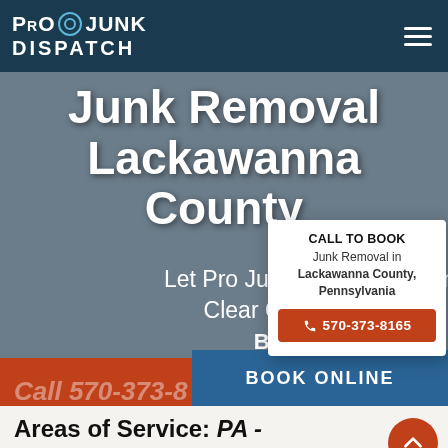Pro Junk Dispatch
Junk Removal Lackawanna County
Let Pro Junk Dispatch Clean Up and Clear Out Your Residential & Business Property
Call 570-373-8165
BOOK ONLINE
CALL TO BOOK
Junk Removal in Lackawanna County, Pennsylvania
570-373-8165
Areas of Service: PA - Lackawanna County Junk Removal